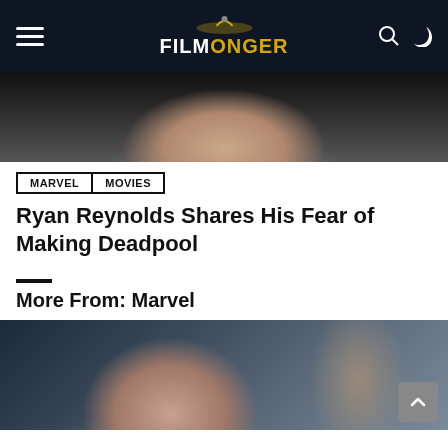Filmonger
[Figure (photo): Partial view of a person in a checkered/plaid blazer, face partially cropped at top]
MARVEL
MOVIES
Ryan Reynolds Shares His Fear of Making Deadpool
More From: Marvel
[Figure (photo): A bald man at what appears to be a movie premiere or event, with decorative background elements]